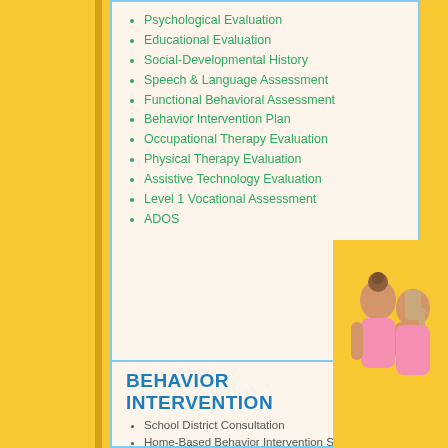Psychological Evaluation
Educational Evaluation
Social-Developmental History
Speech & Language Assessment
Functional Behavioral Assessment
Behavior Intervention Plan
Occupational Therapy Evaluation
Physical Therapy Evaluation
Assistive Technology Evaluation
Level 1 Vocational Assessment
ADOS
BEHAVIOR INTERVENTION
School District Consultation
Home-Based Behavior Intervention Services
[Figure (photo): Two young girls sitting back to back, one with hair up and one with a braid, wearing pink clothing, on a yellow background]